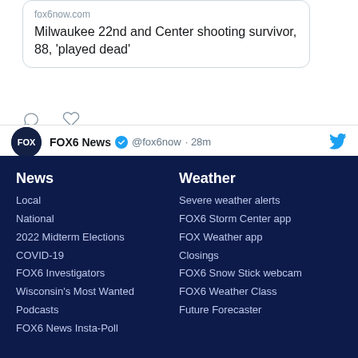[Figure (screenshot): Twitter/social media card showing fox6now.com link with headline: Milwaukee 22nd and Center shooting survivor, 88, 'played dead']
[Figure (screenshot): Tweet row: FOX6 News with verified badge @fox6now · 28m, Twitter bird icon on right]
News
Local
National
2022 Midterm Elections
COVID-19
FOX6 Investigators
Wisconsin's Most Wanted
Podcasts
FOX6 News Insta-Poll
Weather
Severe weather alerts
FOX6 Storm Center app
FOX Weather app
Closings
FOX6 Snow Stick webcam
FOX6 Weather Class
Future Forecaster